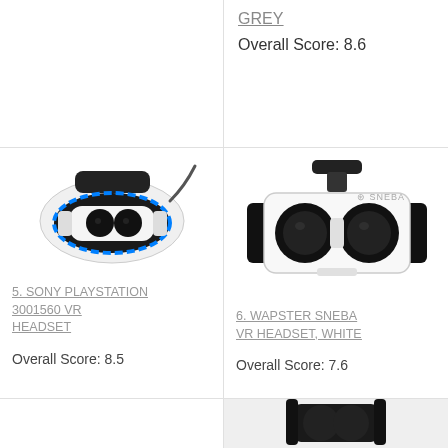GREY
Overall Score: 8.6
[Figure (photo): Sony PlayStation VR headset, black and white, sleek design]
5. SONY PLAYSTATION 3001560 VR HEADSET
Overall Score: 8.5
[Figure (photo): Wapster Sneba VR headset, white with black accents, SNEBA logo visible]
6. WAPSTER SNEBA VR HEADSET, WHITE
Overall Score: 7.6
[Figure (photo): Partial image of another VR headset at bottom of page]